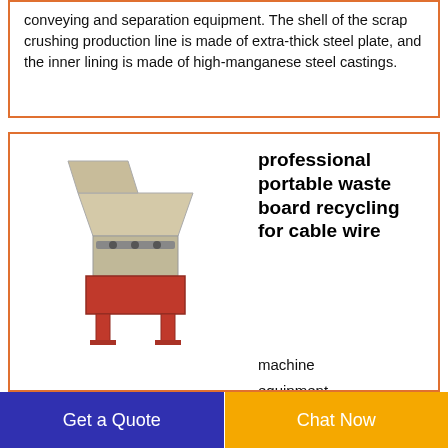conveying and separation equipment. The shell of the scrap crushing production line is made of extra-thick steel plate, and the inner lining is made of high-manganese steel castings.
[Figure (photo): Industrial waste board recycling machine with red base and grey hopper]
professional portable waste board recycling for cable wire
machine
equipment ·
professional portable waste board recycling for coppe cut2size metals steel scrap car recycling for sale china wholesale pvc scrap price for Old car radiator iboco wire
Get a Quote
Chat Now